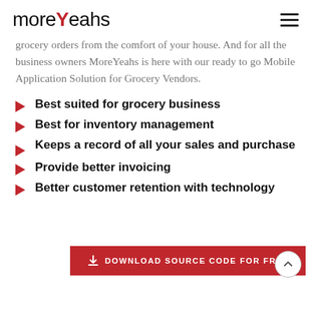moreYeahs
grocery orders from the comfort of your house. And for all the business owners MoreYeahs is here with our ready to go Mobile Application Solution for Grocery Vendors.
Best suited for grocery business
Best for inventory management
Keeps a record of all your sales and purchase
Provide better invoicing
Better customer retention with technology
DOWNLOAD SOURCE CODE FOR FREE